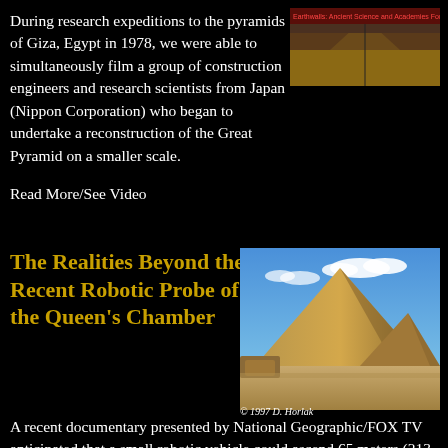During research expeditions to the pyramids of Giza, Egypt in 1978, we were able to simultaneously film a group of construction engineers and research scientists from Japan (Nippon Corporation) who began to undertake a reconstruction of the Great Pyramid on a smaller scale.
[Figure (screenshot): Screenshot/image with text overlay related to pyramids and ancient science]
Read More/See Video
The Realities Beyond the Recent Robotic Probe of the Queen's Chamber
[Figure (photo): Photograph of the Great Pyramid of Giza against a blue sky with clouds, copyright 1997 D. Horlak]
© 1997 D. Horlak
A recent documentary presented by National Geographic/FOX TV anticipated that a small robotic vehicle could ascend 65 meters (213 feet) through the square shaft in the southern wall of the Queen's Chamber of the Great Pyramid by climbing on the silicon and the floor. It would then use the robotic